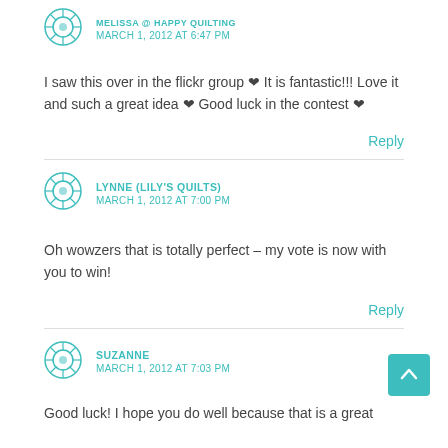MARCH 1, 2012 AT 6:47 PM
I saw this over in the flickr group ❤ It is fantastic!!! Love it and such a great idea ❤ Good luck in the contest ❤
Reply
LYNNE (LILY'S QUILTS)
MARCH 1, 2012 AT 7:00 PM
Oh wowzers that is totally perfect – my vote is now with you to win!
Reply
SUZANNE
MARCH 1, 2012 AT 7:03 PM
Good luck! I hope you do well because that is a great